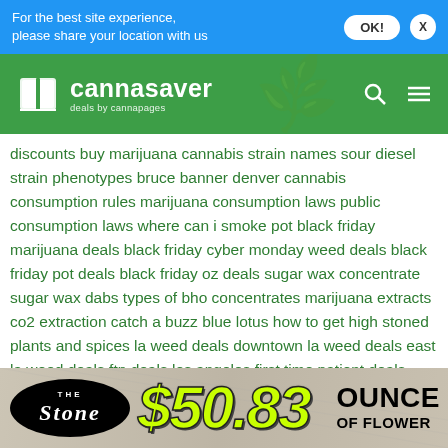For the best site experience, please share your location with us
[Figure (logo): Cannasaver logo - deals by cannapages on green background with cannabis leaf pattern]
discounts buy marijuana cannabis strain names sour diesel strain phenotypes bruce banner denver cannabis consumption rules marijuana consumption laws public consumption laws where can i smoke pot black friday marijuana deals black friday cyber monday weed deals black friday pot deals black friday oz deals sugar wax concentrate sugar wax dabs types of bho concentrates marijuana extracts co2 extraction catch a buzz blue lotus how to get high stoned plants and spices la weed deals downtown la weed deals east la weed deals ftp deals los angeles first time patient deals holiday deals and savings christmas weed deals save money on weed colorado weed deals holiday season marijuana deals las vegas
[Figure (infographic): The Stone dispensary advertisement showing $50.83 ounce of flower deal]